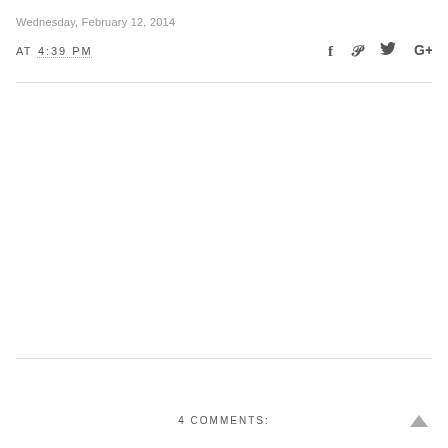Wednesday, February 12, 2014
AT 4:39 PM
4 COMMENTS: